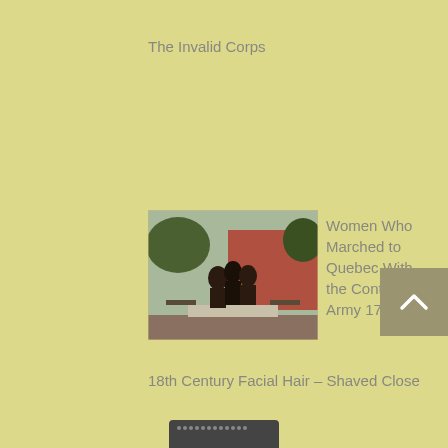The Invalid Corps
[Figure (photo): Bronze statue of women figures outdoors in front of a brick building with trees]
Women Who Marched to Quebec With the Continental Army 1775 …
18th Century Facial Hair – Shaved Close
Battle Road - No Place for Old Men, Maybe Not!
The Dutch Mess